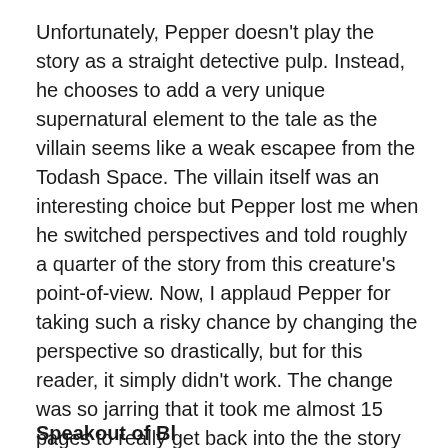Unfortunately, Pepper doesn't play the story as a straight detective pulp.  Instead, he chooses to add a very unique supernatural element to the tale as the villain seems like a weak escapee from the Todash Space.  The villain itself was an interesting choice but Pepper lost me when he switched perspectives and told roughly a quarter of the story from this creature's point-of-view.  Now, I applaud Pepper for taking such a risky chance by changing the perspective so drastically, but for this reader, it simply didn't work. The change was so jarring that it took me almost 15 pages to really get back into the the story and then once we shift back to Hank's perspective, well, the story had lost a lot of momentum. If the story had not strayed from Hank's perspective, I think we may be talking about a contender for the best detective story of the year.
Speakout of Blackington at to Responsibility